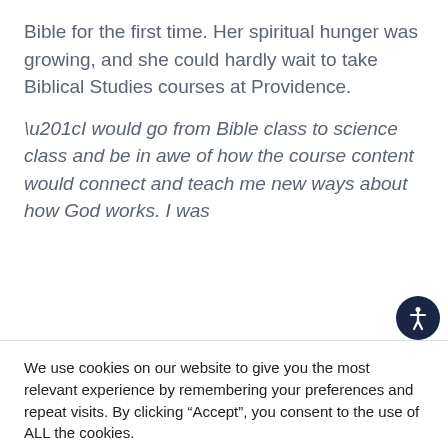Bible for the first time. Her spiritual hunger was growing, and she could hardly wait to take Biblical Studies courses at Providence.
“I would go from Bible class to science class and be in awe of how the course content would connect and teach me new ways about how God works. I was
We use cookies on our website to give you the most relevant experience by remembering your preferences and repeat visits. By clicking “Accept”, you consent to the use of ALL the cookies.
Do not sell my personal information.